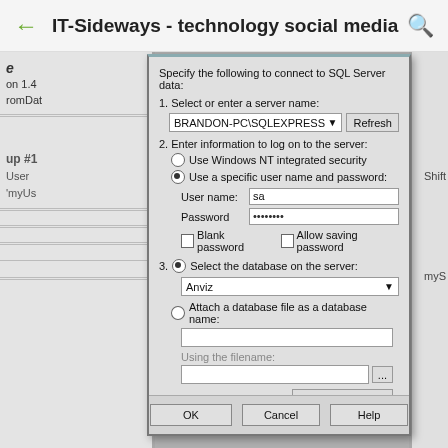IT-Sideways - technology social media
[Figure (screenshot): Windows SQL Server connection dialog showing fields: server name BRANDON-PC\SQLEXPRESS, radio buttons for Windows NT integrated security and specific user name/password (selected), User name: sa, Password: ********, checkboxes for Blank password and Allow saving password, database selection dropdown showing 'Anviz', Attach a database file option, Using the filename field, Test Connection button, and OK/Cancel/Help buttons at the bottom.]